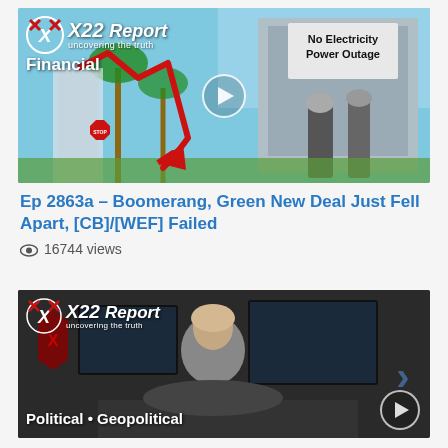[Figure (screenshot): Thumbnail image for X22 Report Financial episode showing an EV charging station with a sign reading 'No Electricity Power Outage' and a red downward arrow chart overlay with X22 Report Financial logo. Play button centered.]
Ep 2863a – Boomerang, Green New Deal Just Fell Apart, [CB]/[WEF] Failed
16744 views
[Figure (screenshot): Thumbnail for X22 Report Political/Geopolitical episode showing a person from behind at a desk with monitors, red X22 logos and 'Political • Geopolitical' label, partial play button visible at bottom right.]